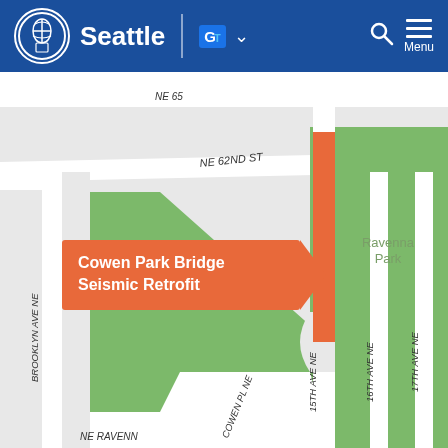Seattle — City of Seattle website header with navigation, Google Translate, search, and menu
[Figure (map): Google Maps screenshot showing the area around Cowen Park Bridge in Seattle. The map shows streets including NE 62nd St, Brooklyn Ave NE, Cowen Pl NE, 15th Ave NE, 16th Ave NE, 17th Ave NE, and NE Ravenna. Green areas indicate Cowen Park and Ravenna Park. An orange vertical bar highlights the Cowen Park Bridge location on 15th Ave NE between the two parks. An orange tooltip label reads 'Cowen Park Bridge Seismic Retrofit'.]